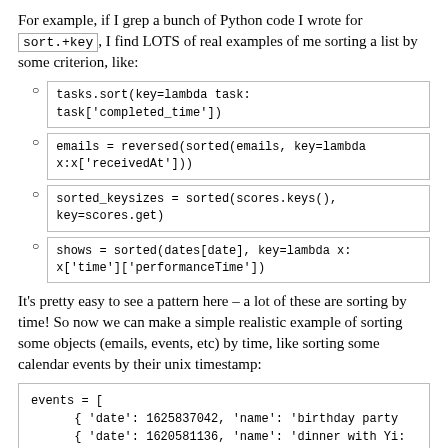For example, if I grep a bunch of Python code I wrote for sort.+key, I find LOTS of real examples of me sorting a list by some criterion, like:
tasks.sort(key=lambda task:
task['completed_time'])
emails = reversed(sorted(emails, key=lambda
x:x['receivedAt']))
sorted_keysizes = sorted(scores.keys(),
key=scores.get)
shows = sorted(dates[date], key=lambda x:
x['time']['performanceTime'])
It’s pretty easy to see a pattern here – a lot of these are sorting by time! So now we can make a simple realistic example of sorting some objects (emails, events, etc) by time, like sorting some calendar events by their unix timestamp:
events = [
      { 'date': 1625837042, 'name': 'birthday party
      { 'date': 1620581136, 'name': 'dinner with Yi:
      { 'date': 1589045136, 'name': 'dentist appoint
]